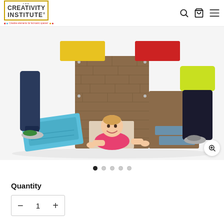[Figure (logo): The Creativity Institute logo with yellow border, multicolored figures, tagline: Creative elements for kid-tastic spaces!]
[Figure (photo): Children playing with a large plastic modular playhouse/climbing structure with colorful panels (yellow, red, blue, brown brick-pattern). A young child in a pink shirt crawls through an opening at the base. Adults or older children visible on sides. White background.]
[Figure (other): Image carousel navigation dots, 5 dots total, first dot filled/active, rest empty circles]
Quantity
1